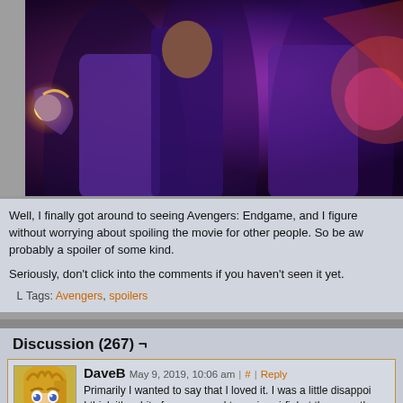[Figure (photo): Movie promotional image for Avengers: Endgame showing superhero characters with glowing effects in purple and orange tones]
Well, I finally got around to seeing Avengers: Endgame, and I figure without worrying about spoiling the movie for other people. So be aw probably a spoiler of some kind.
Seriously, don't click into the comments if you haven't seen it yet.
Tags: Avengers, spoilers
Discussion (267) ¬
DaveB  May 9, 2019, 10:06 am | # | Reply
Primarily I wanted to say that I loved it. I was a little disappoi I think it's a bit of an overused trope in sci-fi, but they way the glad Marvel didn't undo the last 20 movies, and the solution t without undoing what had happened in the intervening time w would have been effectively killing all the children born in the